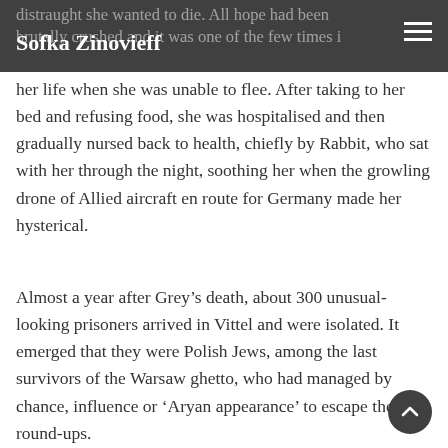Sofka Zinovieff
her life when she was unable to flee. After taking to her bed and refusing food, she was hospitalised and then gradually nursed back to health, chiefly by Rabbit, who sat with her through the night, soothing her when the growling drone of Allied aircraft en route for Germany made her hysterical.
Almost a year after Grey’s death, about 300 unusual-looking prisoners arrived in Vittel and were isolated. It emerged that they were Polish Jews, among the last survivors of the Warsaw ghetto, who had managed by chance, influence or ‘Aryan appearance’ to escape the round-ups.